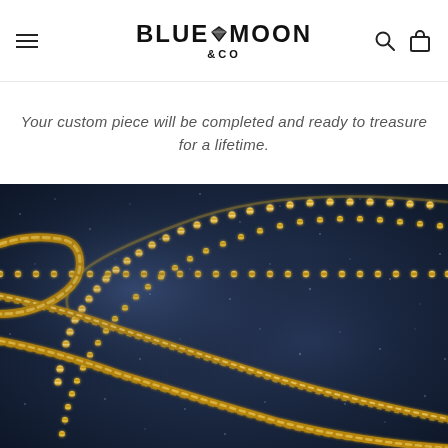BLUE MOON & CO — navigation header with hamburger menu, logo, search and cart icons
Your custom piece will be completed and ready to treasure for a lifetime.
[Figure (photo): Close-up photograph of multiple gold chains (rope chain and ball chain styles) arranged on a dark navy/blue glittery fabric background]